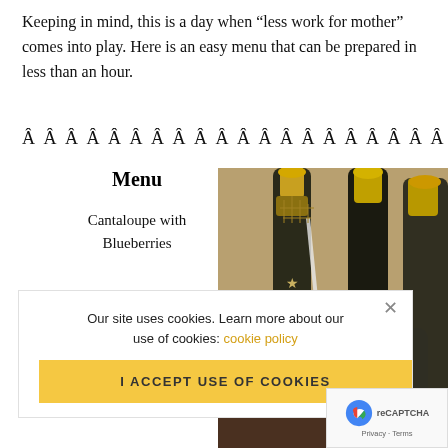Keeping in mind, this is a day when “less work for mother” comes into play. Here is an easy menu that can be prepared in less than an hour.
Â Â Â Â Â Â Â Â Â Â Â Â Â Â Â Â Â Â Â Â Â Â Â Â Â Â Â Â Â Â
Menu
Cantaloupe with Blueberries
[Figure (photo): Champagne bottles in an ice bucket]
Our site uses cookies. Learn more about our use of cookies: cookie policy
I ACCEPT USE OF COOKIES